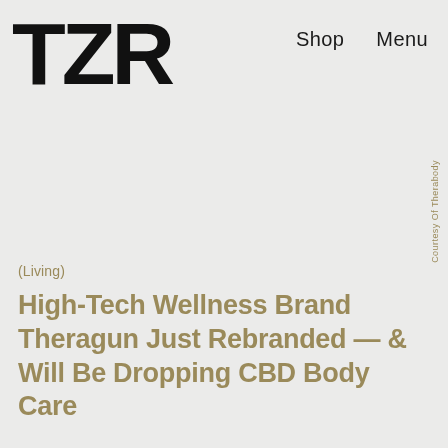TZR   Shop   Menu
Courtesy Of Therabody
(Living)
High-Tech Wellness Brand Theragun Just Rebranded — & Will Be Dropping CBD Body Care